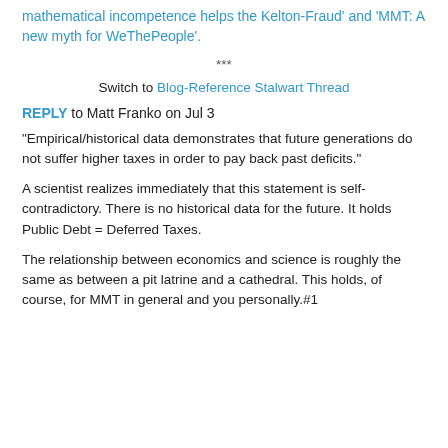mathematical incompetence helps the Kelton-Fraud' and 'MMT: A new myth for WeThePeople'.
***
Switch to Blog-Reference Stalwart Thread
REPLY to Matt Franko on Jul 3
“Empirical/historical data demonstrates that future generations do not suffer higher taxes in order to pay back past deficits.”
A scientist realizes immediately that this statement is self-contradictory. There is no historical data for the future. It holds Public Debt = Deferred Taxes.
The relationship between economics and science is roughly the same as between a pit latrine and a cathedral. This holds, of course, for MMT in general and you personally.#1